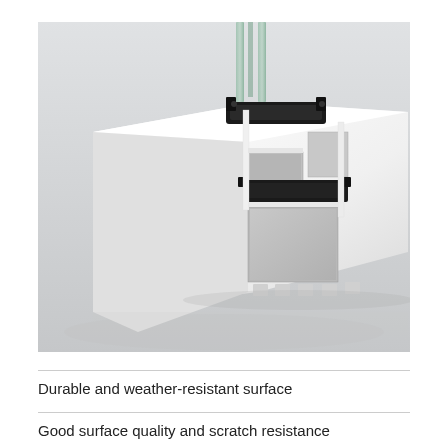[Figure (photo): Cross-section photograph of a white PVC window frame profile showing multiple chambers, black rubber seals, and glass panes at the top. The profile is cut diagonally to reveal the internal chamber structure, sealing strips, and glazing beads.]
Durable and weather-resistant surface
Good surface quality and scratch resistance